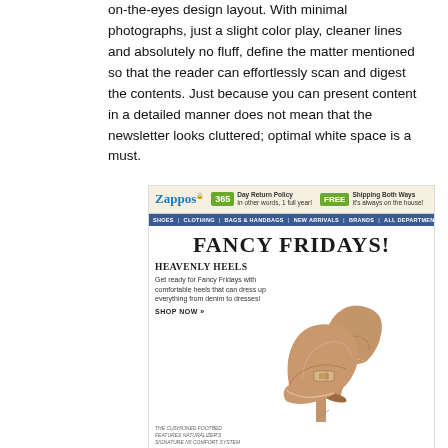on-the-eyes design layout. With minimal photographs, just a slight color play, cleaner lines and absolutely no fluff, define the matter mentioned so that the reader can effortlessly scan and digest the contents. Just because you can present content in a detailed manner does not mean that the newsletter looks cluttered; optimal white space is a must.
[Figure (screenshot): Screenshot of Zappos email newsletter showing 'Fancy Fridays' promotion with Heavenly Heels section, navigation bar with shoes/clothing/bags/new arrivals/brands/all departments, 365 day return policy, free shipping badges, and product image of tan/nude heels.]